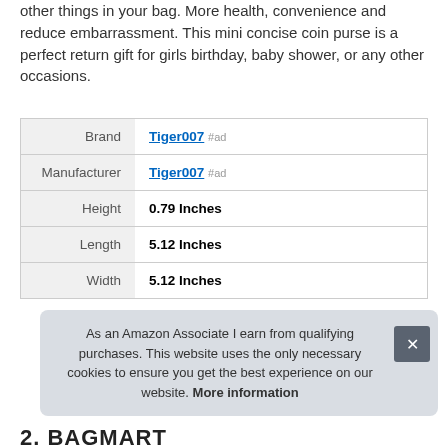other things in your bag. More health, convenience and reduce embarrassment. This mini concise coin purse is a perfect return gift for girls birthday, baby shower, or any other occasions.
| Brand | Tiger007 #ad |
| Manufacturer | Tiger007 #ad |
| Height | 0.79 Inches |
| Length | 5.12 Inches |
| Width | 5.12 Inches |
As an Amazon Associate I earn from qualifying purchases. This website uses the only necessary cookies to ensure you get the best experience on our website. More information
2. BAGMART